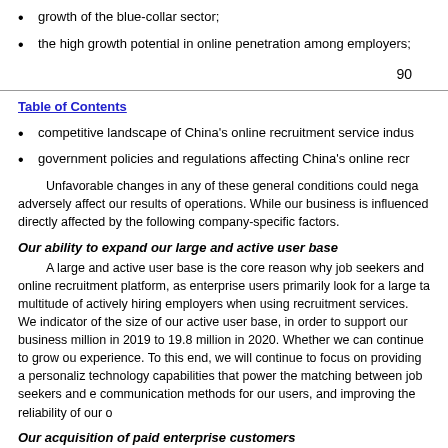growth of the blue-collar sector;
the high growth potential in online penetration among employers;
90
Table of Contents
competitive landscape of China's online recruitment service indus...
government policies and regulations affecting China's online recr...
Unfavorable changes in any of these general conditions could negatively adversely affect our results of operations. While our business is influenced directly affected by the following company-specific factors.
Our ability to expand our large and active user base
A large and active user base is the core reason why job seekers and online recruitment platform, as enterprise users primarily look for a large ta multitude of actively hiring employers when using recruitment services. We indicator of the size of our active user base, in order to support our business million in 2019 to 19.8 million in 2020. Whether we can continue to grow ou experience. To this end, we will continue to focus on providing a personaliz technology capabilities that power the matching between job seekers and e communication methods for our users, and improving the reliability of our o
Our acquisition of paid enterprise customers